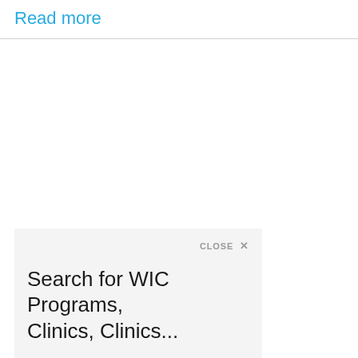Read more
CLOSE ✕
Search for WIC Programs, Clinics, Clinics...